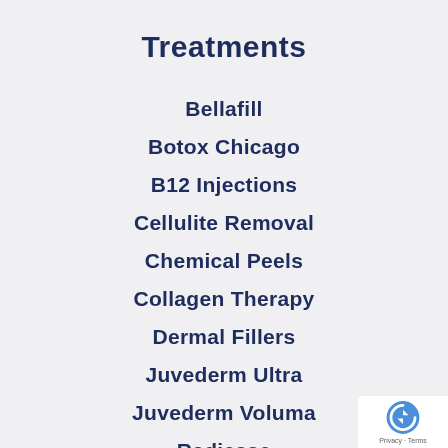Treatments
Bellafill
Botox Chicago
B12 Injections
Cellulite Removal
Chemical Peels
Collagen Therapy
Dermal Fillers
Juvederm Ultra
Juvederm Voluma
Radiesse